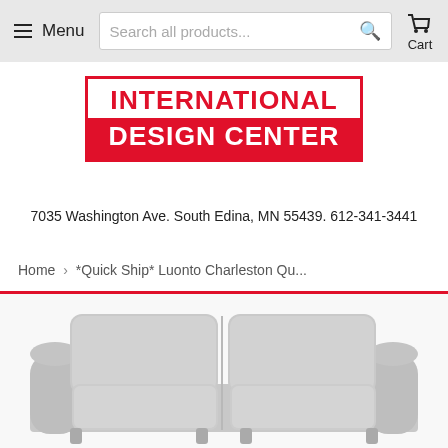Menu  Search all products...  Cart
[Figure (logo): International Design Center logo: red bordered box with INTERNATIONAL in red text on white and DESIGN CENTER in white text on red background]
7035 Washington Ave. South Edina, MN 55439. 612-341-3441
Home › *Quick Ship* Luonto Charleston Qu...
[Figure (photo): Light grey upholstered sofa with two seat cushions and rolled arms, shown from a slightly angled front view, partially cropped at the bottom of the page]